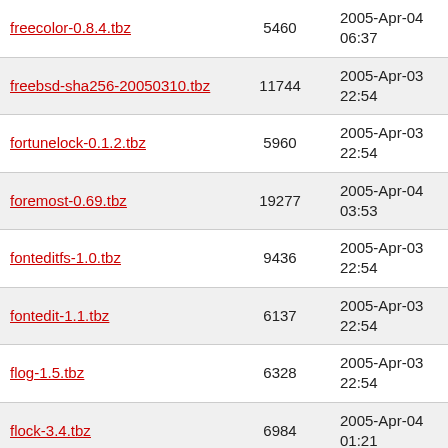| freecolor-0.8.4.tbz | 5460 | 2005-Apr-04 06:37 |
| freebsd-sha256-20050310.tbz | 11744 | 2005-Apr-03 22:54 |
| fortunelock-0.1.2.tbz | 5960 | 2005-Apr-03 22:54 |
| foremost-0.69.tbz | 19277 | 2005-Apr-04 03:53 |
| fonteditfs-1.0.tbz | 9436 | 2005-Apr-03 22:54 |
| fontedit-1.1.tbz | 6137 | 2005-Apr-03 22:54 |
| flog-1.5.tbz | 6328 | 2005-Apr-03 22:54 |
| flock-3.4.tbz | 6984 | 2005-Apr-04 01:21 |
| flexbackup-1.2.1.tbz | 63967 | 2005-Apr-04 00:47 |
| flasher-1.3.tbz | 8676 | 2005-Apr-03 22:54 |
| finfo-0.1.tbz | 4810 | 2005-Apr-03 22:53 |